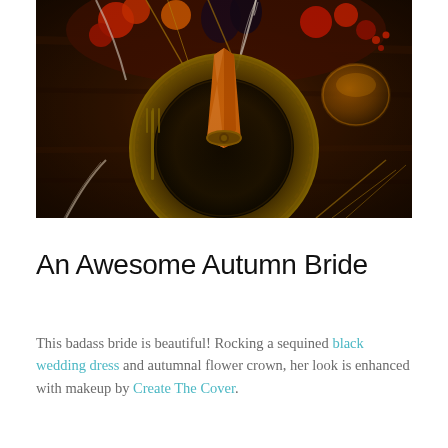[Figure (photo): Overhead/top-down view of an autumn wedding table setting with an ornate gold/dark plate, an orange folded napkin with a decorative ring, gold cutlery, a glass with amber liquid, and autumnal floral arrangement featuring red flowers, dark foliage, wheat, and white feathers on a dark wooden table.]
An Awesome Autumn Bride
This badass bride is beautiful! Rocking a sequined black wedding dress and autumnal flower crown, her look is enhanced with makeup by Create The Cover.